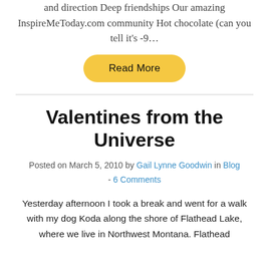and direction Deep friendships Our amazing InspireMeToday.com community Hot chocolate (can you tell it's -9…
Read More
Valentines from the Universe
Posted on March 5, 2010 by Gail Lynne Goodwin in Blog - 6 Comments
Yesterday afternoon I took a break and went for a walk with my dog Koda along the shore of Flathead Lake, where we live in Northwest Montana. Flathead